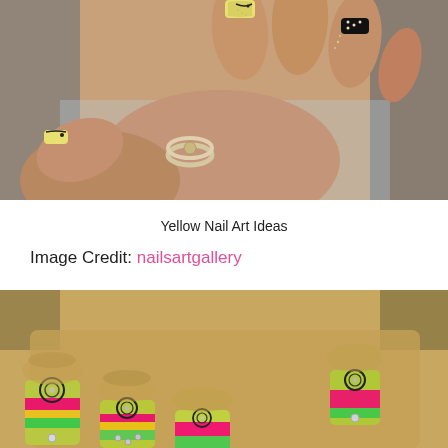[Figure (photo): Close-up photo of a hand with decorated nails featuring yellow and black nail art designs with crystal dots, and a silver flower ring on the ring finger.]
Yellow Nail Art Ideas
Image Credit: nailsartgallery
[Figure (photo): Close-up photo of hands with colorful nail art featuring neon yellow, pink, and green swirl designs with circle and eye motifs and rhinestone accents.]